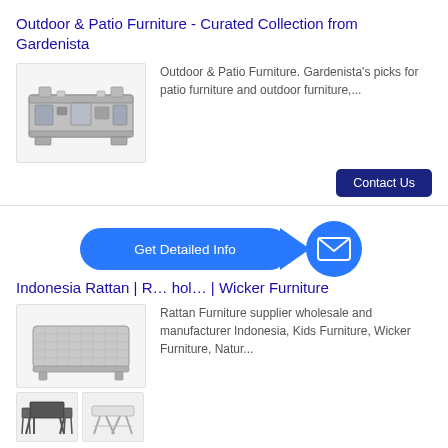Outdoor & Patio Furniture - Curated Collection from Gardenista
[Figure (photo): Photo of a metal industrial mold/press machine, silver-gray color]
Outdoor & Patio Furniture. Gardenista's picks for patio furniture and outdoor furniture,...
Contact Us
[Figure (infographic): Blue pill-shaped button labeled 'Get Detailed Info' with arrow pointing to blue circle with envelope/mail icon]
Indonesia Rattan | R... hol... | Wicker Furniture
[Figure (photo): Photo of a rattan/wicker furniture piece, basket-style, silver-gray]
Rattan Furniture supplier wholesale and manufacturer Indonesia, Kids Furniture, Wicker Furniture, Natur...
[Figure (photo): Small images: folding chairs and table set; adjustable folding table]
Contact Us